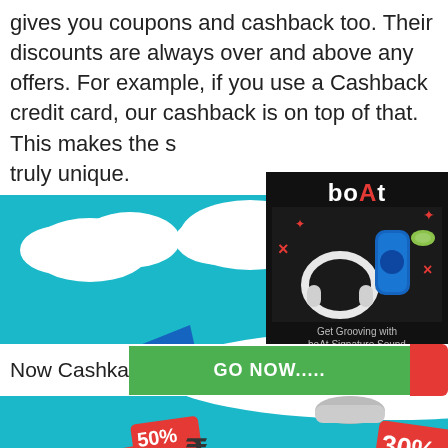gives you coupons and cashback too. Their discounts are always over and above any offers. For example, if you use a Cashback credit card, our cashback is on top of that. This makes the s truly unique.
[Figure (illustration): CashKaro promotional banner showing an airplane with CashKaro.com branding flying above discount tags (50%, 30%) and rupee symbols on a teal background with clouds]
[Figure (illustration): boAt audio products advertisement showing headphones and earbuds with text 'Get Grooving with boAt Signature Sound' and 'Shop Now' button]
[Figure (infographic): Salewala popup notification showing gift icon with title SALEWALA and subtitle FLipkart Sale.]
Now Cashka
GO NOW.....
Shirts for Rs.29 only!!! (Unlimited buying Irick is